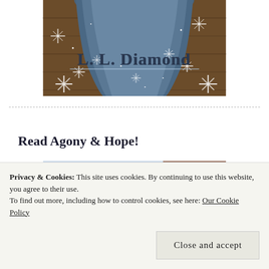[Figure (illustration): Book cover or author banner image for L. L. Diamond with snowflake decorations on a dark blue draped fabric background with wooden floor]
Read Agony & Hope!
[Figure (photo): Partial book cover image for Agony & Hope by L. L. Diamond showing bare winter trees]
Privacy & Cookies: This site uses cookies. By continuing to use this website, you agree to their use. To find out more, including how to control cookies, see here: Our Cookie Policy